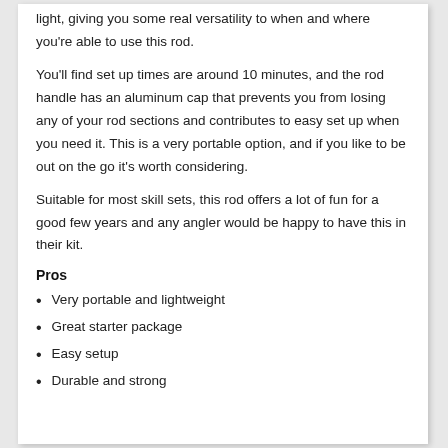light, giving you some real versatility to when and where you're able to use this rod.
You'll find set up times are around 10 minutes, and the rod handle has an aluminum cap that prevents you from losing any of your rod sections and contributes to easy set up when you need it. This is a very portable option, and if you like to be out on the go it's worth considering.
Suitable for most skill sets, this rod offers a lot of fun for a good few years and any angler would be happy to have this in their kit.
Pros
Very portable and lightweight
Great starter package
Easy setup
Durable and strong